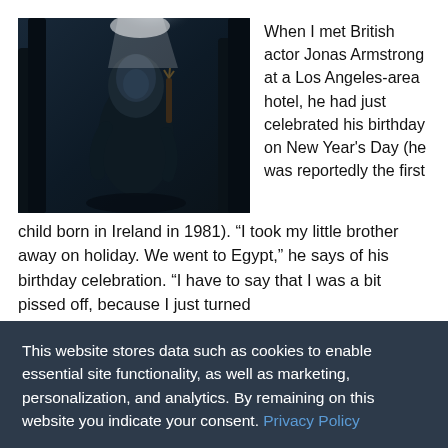[Figure (photo): A man in a dark hooded cloak standing in a dimly lit forest with a bright light source above, styled as a medieval fantasy scene.]
When I met British actor Jonas Armstrong at a Los Angeles-area hotel, he had just celebrated his birthday on New Year's Day (he was reportedly the first child born in Ireland in 1981). “I took my little brother away on holiday. We went to Egypt,” he says of his birthday celebration. “I have to say that I was a bit pissed off, because I just turned
This website stores data such as cookies to enable essential site functionality, as well as marketing, personalization, and analytics. By remaining on this website you indicate your consent. Privacy Policy